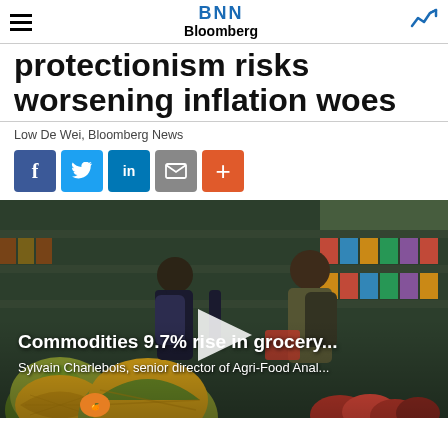BNN Bloomberg
protectionism risks worsening inflation woes
Low De Wei, Bloomberg News
[Figure (screenshot): Social media share buttons: Facebook, Twitter, LinkedIn, Email, More (+)]
[Figure (photo): Video thumbnail showing a grocery store with pineapples and produce in foreground, shoppers in background. Overlay text reads: 'Commodities 9.7% rise in grocery...' and 'Sylvain Charlebois, senior director of Agri-Food Anal...' with a play button in the center.]